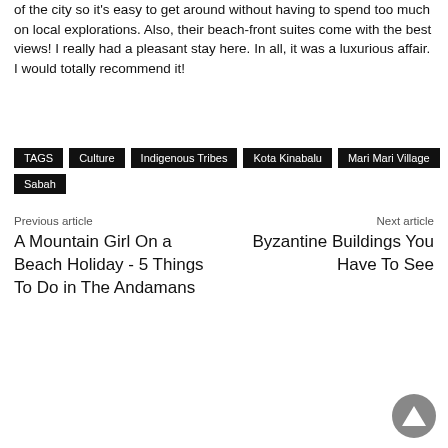of the city so it's easy to get around without having to spend too much on local explorations. Also, their beach-front suites come with the best views! I really had a pleasant stay here. In all, it was a luxurious affair.  I would totally recommend it!
TAGS  Culture  Indigenous Tribes  Kota Kinabalu  Mari Mari Village  Sabah
Previous article
A Mountain Girl On a Beach Holiday - 5 Things To Do in The Andamans
Next article
Byzantine Buildings You Have To See
LEAVE A COMMENT